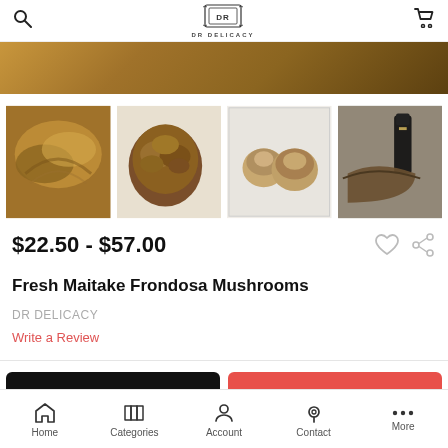DR DELICACY
[Figure (photo): Hero banner image showing mushrooms in warm brown tones]
[Figure (photo): Four product thumbnail images of Maitake Frondosa mushrooms from different angles]
$22.50 - $57.00
Fresh Maitake Frondosa Mushrooms
DR DELICACY
Write a Review
ADD TO CART
BUY NOW
Home  Categories  Account  Contact  More